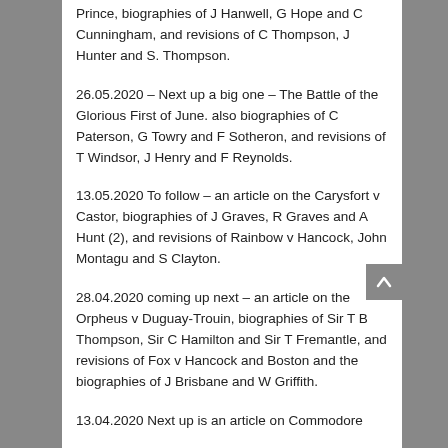Prince, biographies of J Hanwell, G Hope and C Cunningham, and revisions of C Thompson, J Hunter and S. Thompson.
26.05.2020 – Next up a big one – The Battle of the Glorious First of June. also biographies of C Paterson, G Towry and F Sotheron, and revisions of T Windsor, J Henry and F Reynolds.
13.05.2020 To follow – an article on the Carysfort v Castor, biographies of J Graves, R Graves and A Hunt (2), and revisions of Rainbow v Hancock, John Montagu and S Clayton.
28.04.2020 coming up next – an article on the Orpheus v Duguay-Trouin, biographies of Sir T B Thompson, Sir C Hamilton and Sir T Fremantle, and revisions of Fox v Hancock and Boston and the biographies of J Brisbane and W Griffith.
13.04.2020 Next up is an article on Commodore